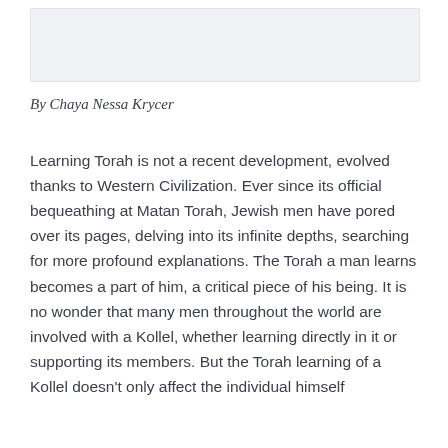[Figure (photo): Image placeholder at top of article]
By Chaya Nessa Krycer
Learning Torah is not a recent development, evolved thanks to Western Civilization. Ever since its official bequeathing at Matan Torah, Jewish men have pored over its pages, delving into its infinite depths, searching for more profound explanations. The Torah a man learns becomes a part of him, a critical piece of his being. It is no wonder that many men throughout the world are involved with a Kollel, whether learning directly in it or supporting its members. But the Torah learning of a Kollel doesn't only affect the individual himself